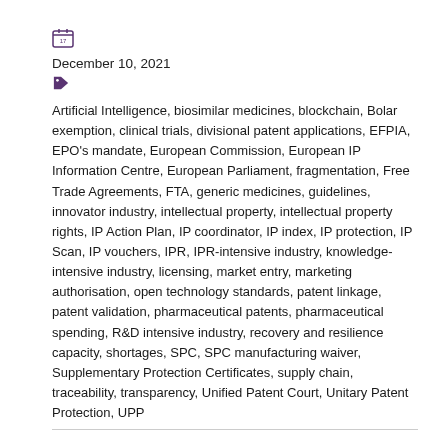[Figure (illustration): Calendar icon]
December 10, 2021
[Figure (illustration): Tag/label icon]
Artificial Intelligence, biosimilar medicines, blockchain, Bolar exemption, clinical trials, divisional patent applications, EFPIA, EPO's mandate, European Commission, European IP Information Centre, European Parliament, fragmentation, Free Trade Agreements, FTA, generic medicines, guidelines, innovator industry, intellectual property, intellectual property rights, IP Action Plan, IP coordinator, IP index, IP protection, IP Scan, IP vouchers, IPR, IPR-intensive industry, knowledge-intensive industry, licensing, market entry, marketing authorisation, open technology standards, patent linkage, patent validation, pharmaceutical patents, pharmaceutical spending, R&D intensive industry, recovery and resilience capacity, shortages, SPC, SPC manufacturing waiver, Supplementary Protection Certificates, supply chain, traceability, transparency, Unified Patent Court, Unitary Patent Protection, UPP
By Giuliana Miglierini
The end of 2021 may see the final